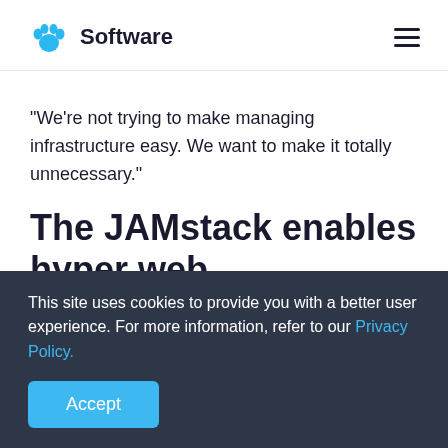Software
"We're not trying to make managing infrastructure easy. We want to make it totally unnecessary."
The JAMstack enables hyper web development
To replace the complexity and tedium of managing server infrastructure, Netlify has taken advantage of a
This site uses cookies to provide you with a better user experience. For more information, refer to our Privacy Policy.
Accept